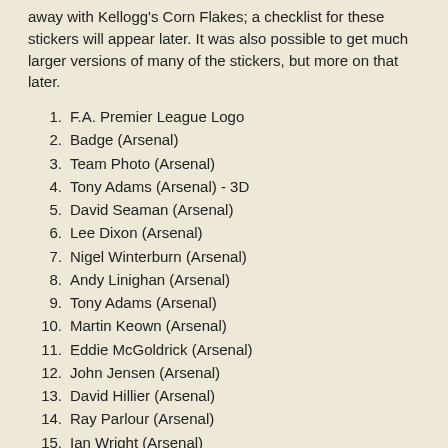away with Kellogg's Corn Flakes; a checklist for these stickers will appear later. It was also possible to get much larger versions of many of the stickers, but more on that later.
1. F.A. Premier League Logo
2. Badge (Arsenal)
3. Team Photo (Arsenal)
4. Tony Adams (Arsenal) - 3D
5. David Seaman (Arsenal)
6. Lee Dixon (Arsenal)
7. Nigel Winterburn (Arsenal)
8. Andy Linighan (Arsenal)
9. Tony Adams (Arsenal)
10. Martin Keown (Arsenal)
11. Eddie McGoldrick (Arsenal)
12. John Jensen (Arsenal)
13. David Hillier (Arsenal)
14. Ray Parlour (Arsenal)
15. Ian Wright (Arsenal)
16. Paul Merson (Arsenal)
17. Alan Smith (Arsenal)
18. Kevin Campbell (Arsenal)